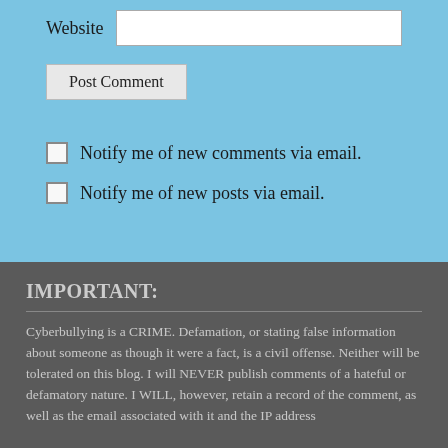Website
Post Comment
Notify me of new comments via email.
Notify me of new posts via email.
IMPORTANT:
Cyberbullying is a CRIME. Defamation, or stating false information about someone as though it were a fact, is a civil offense. Neither will be tolerated on this blog. I will NEVER publish comments of a hateful or defamatory nature. I WILL, however, retain a record of the comment, as well as the email associated with it and the IP address